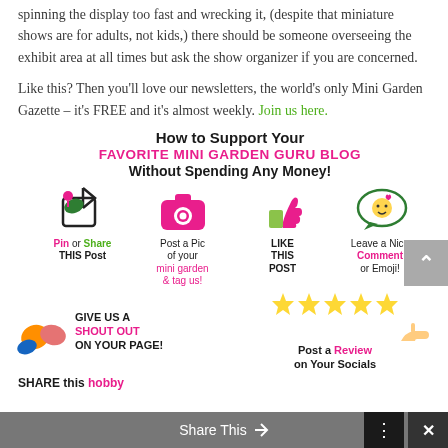spinning the display too fast and wrecking it, (despite that miniature shows are for adults, not kids,) there should be someone overseeing the exhibit area at all times but ask the show organizer if you are concerned.
Like this? Then you'll love our newsletters, the world's only Mini Garden Gazette – it's FREE and it's almost weekly. Join us here.
[Figure (infographic): Infographic: How to Support Your FAVORITE MINI GARDEN GURU BLOG Without Spending Any Money! Icons for: Pin or Share THIS Post, Post a Pic of your mini garden & tag us!, LIKE THIS POST, Leave a Nice Comment or Emoji!, GIVE US A SHOUT OUT ON YOUR PAGE!, Post a Review on Your Socials (stars), SHARE this hobby]
Share This